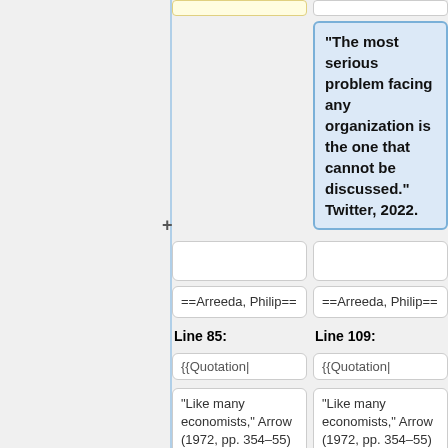"The most serious problem facing any organization is the one that cannot be discussed." Twitter, 2022.
==Arreeda, Philip==
==Arreeda, Philip==
Line 85:
Line 109:
{{Quotation|
{{Quotation|
“Like many economists,” Arrow (1972, pp. 354–55) writes, “I
“Like many economists,” Arrow (1972, pp. 354–55) writes, “I